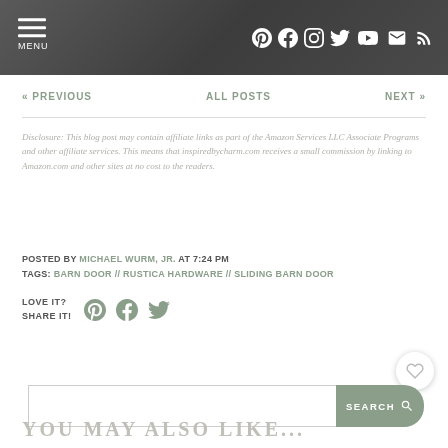MENU | Social icons: Pinterest, Facebook, Instagram, Twitter, YouTube, Email, RSS
« PREVIOUS   ALL POSTS   NEXT »
Disclosure: This blog post may contain affiliate links as part of the Amazon Services LLC Associate Programs and other affiliate services. This means that inspiredbycharm.com receives a small commission by linking to Amazon.com and other sites at no cost to the readers.
POSTED BY MICHAEL WURM, JR. AT 7:24 PM
TAGS: BARN DOOR // RUSTICA HARDWARE // SLIDING BARN DOOR
LOVE IT? SHARE IT!
YOU MAY ALSO LIKE...